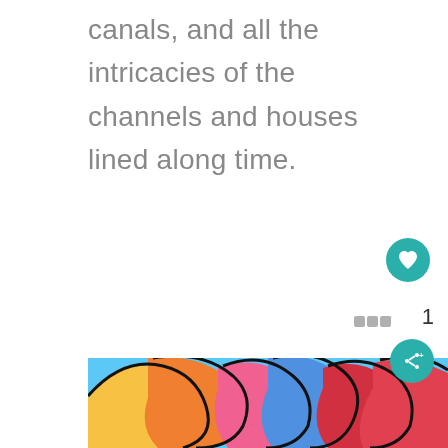canals, and all the intricacies of the channels and houses lined along time.
[Figure (illustration): Colorful abstract/graffiti style artwork with bold colors including blue, yellow, orange, pink, red at the bottom of the page]
[Figure (other): UI overlay elements: teal heart button, count badge '1', grid/menu icon, teal share button]